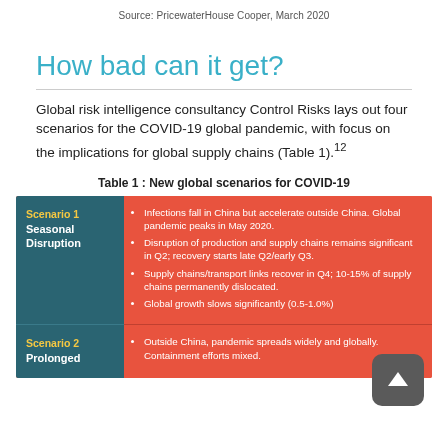Source: PricewaterHouse Cooper, March 2020
How bad can it get?
Global risk intelligence consultancy Control Risks lays out four scenarios for the COVID-19 global pandemic, with focus on the implications for global supply chains (Table 1).¹²
Table 1 : New global scenarios for COVID-19
| Scenario | Details |
| --- | --- |
| Scenario 1
Seasonal Disruption | Infections fall in China but accelerate outside China. Global pandemic peaks in May 2020.
Disruption of production and supply chains remains significant in Q2; recovery starts late Q2/early Q3.
Supply chains/transport links recover in Q4; 10-15% of supply chains permanently dislocated.
Global growth slows significantly (0.5-1.0%) |
| Scenario 2
Prolonged | Outside China, pandemic spreads widely and globally. Containment efforts mixed. |